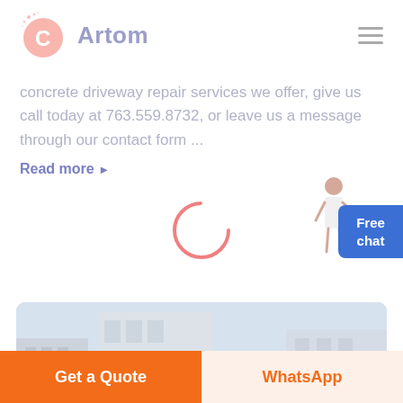[Figure (logo): Artom brand logo with pink/orange swirl C icon and gray-purple 'Artom' text]
concrete driveway repair services we offer, give us call today at 763.559.8732, or leave us a message through our contact form ...
Read more ▶
[Figure (other): Loading spinner — pink/salmon ring circle]
[Figure (photo): Blurred photo of urban buildings with trees and street scene]
Free chat
Get a Quote
WhatsApp